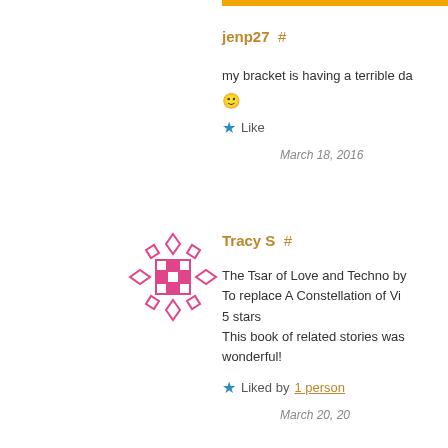jenp27  #
my bracket is having a terrible da
🙂
★ Like
March 18, 2016
[Figure (illustration): Avatar icon with pink geometric diamond/cross pattern on white background]
Tracy S  #
The Tsar of Love and Techno by
To replace A Constellation of Vi
5 stars
This book of related stories was
wonderful!
★ Liked by 1 person
March 20, 20